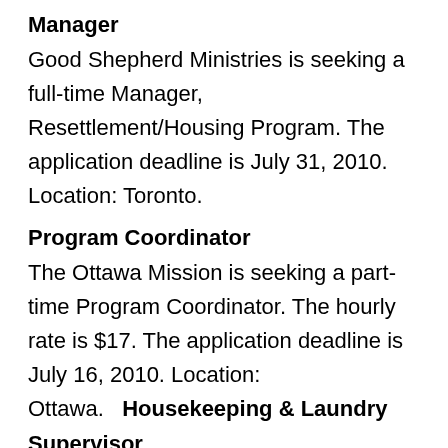Manager
Good Shepherd Ministries is seeking a full-time Manager, Resettlement/Housing Program. The application deadline is July 31, 2010. Location: Toronto.
Program Coordinator
The Ottawa Mission is seeking a part-time Program Coordinator. The hourly rate is $17. The application deadline is July 16, 2010. Location: Ottawa.   Housekeeping & Laundry Supervisor
Villa Colombo Homes for the Aged Inc. is seeking a full-time Housekeeping & Laundry Supervisor. The application deadline is July 12,